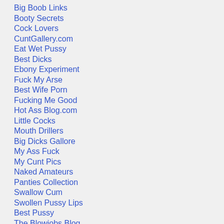Big Boob Links
Booty Secrets
Cock Lovers
CuntGallery.com
Eat Wet Pussy
Best Dicks
Ebony Experiment
Fuck My Arse
Best Wife Porn
Fucking Me Good
Hot Ass Blog.com
Little Cocks
Mouth Drillers
Big Dicks Gallore
My Ass Fuck
My Cunt Pics
Naked Amateurs
Panties Collection
Swallow Cum
Swollen Pussy Lips
Best Pussy
The Blowjobs Blog
They Love Fucking